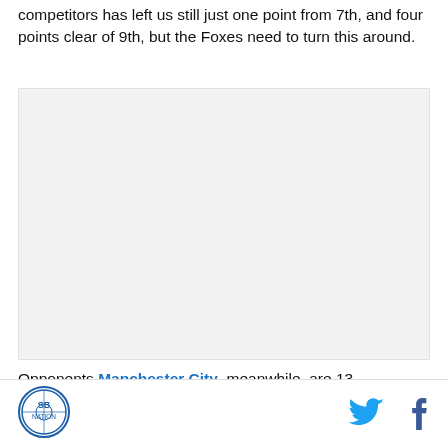competitors has left us still just one point from 7th, and four points clear of 9th, but the Foxes need to turn this around.
[Figure (other): Advertisement placeholder area with light gray background]
Opponents Manchester City, meanwhile, are 13
[Figure (logo): Site logo circle with football crest]
[Figure (other): Twitter bird icon and Facebook f icon for social sharing]